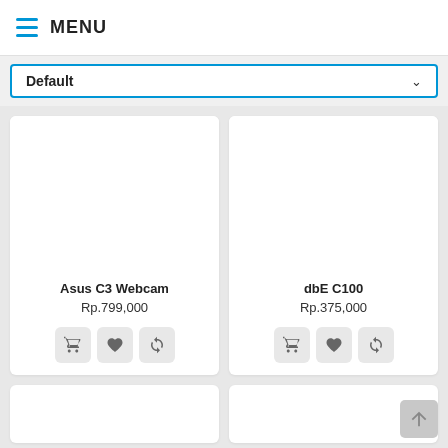MENU
Default
Asus C3 Webcam
Rp.799,000
dbE C100
Rp.375,000